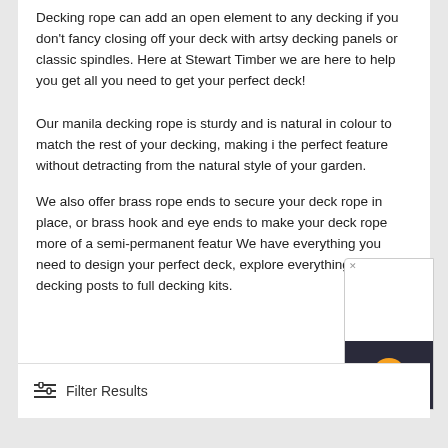Decking rope can add an open element to any decking if you don't fancy closing off your deck with artsy decking panels or classic spindles. Here at Stewart Timber we are here to help you get all you need to get your perfect deck!
Our manila decking rope is sturdy and is natural in colour to match the rest of your decking, making it the perfect feature without detracting from the natural style of your garden.
We also offer brass rope ends to secure your deck rope in place, or brass hook and eye ends to make your deck rope more of a semi-permanent feature. We have everything you need to design your perfect deck, explore everything from decking posts to full decking kits.
Filter Results